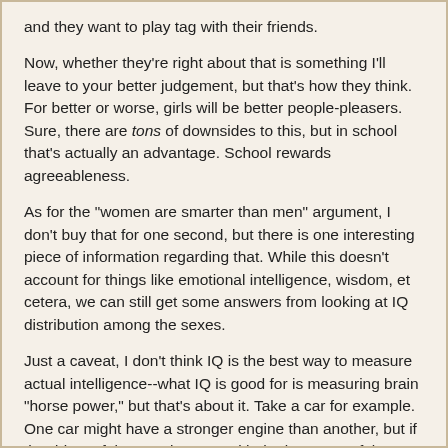and they want to play tag with their friends.
Now, whether they're right about that is something I'll leave to your better judgement, but that's how they think. For better or worse, girls will be better people-pleasers. Sure, there are tons of downsides to this, but in school that's actually an advantage. School rewards agreeableness.
As for the "women are smarter than men" argument, I don't buy that for one second, but there is one interesting piece of information regarding that. While this doesn't account for things like emotional intelligence, wisdom, et cetera, we can still get some answers from looking at IQ distribution among the sexes.
Just a caveat, I don't think IQ is the best way to measure actual intelligence--what IQ is good for is measuring brain "horse power," but that's about it. Take a car for example. One car might have a stronger engine than another, but if the driver of the "weaker" car with the less powerful engine is a better driver, they'd have a good chance of winning a race against a bad driver who has a better car.